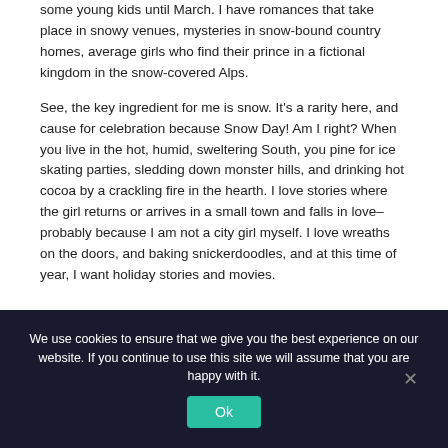some young kids until March. I have romances that take place in snowy venues, mysteries in snow-bound country homes, average girls who find their prince in a fictional kingdom in the snow-covered Alps.
See, the key ingredient for me is snow. It's a rarity here, and cause for celebration because Snow Day! Am I right? When you live in the hot, humid, sweltering South, you pine for ice skating parties, sledding down monster hills, and drinking hot cocoa by a crackling fire in the hearth. I love stories where the girl returns or arrives in a small town and falls in love–probably because I am not a city girl myself. I love wreaths on the doors, and baking snickerdoodles, and at this time of year, I want holiday stories and movies.
We use cookies to ensure that we give you the best experience on our website. If you continue to use this site we will assume that you are happy with it.